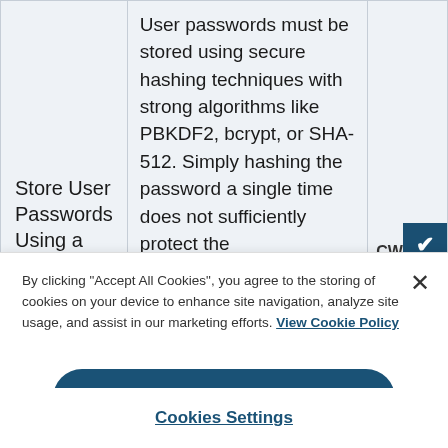| Store User Passwords Using a | User passwords must be stored using secure hashing techniques with strong algorithms like PBKDF2, bcrypt, or SHA-512. Simply hashing the password a single time does not sufficiently protect the | CWE |
By clicking "Accept All Cookies", you agree to the storing of cookies on your device to enhance site navigation, analyze site usage, and assist in our marketing efforts. View Cookie Policy
Accept All Cookies
Cookies Settings